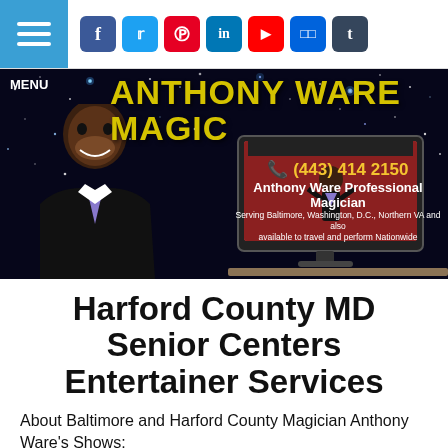[Figure (screenshot): Website navigation bar with hamburger menu icon and social media icons for Facebook, Twitter, Pinterest, LinkedIn, YouTube, Flickr, and Tumblr]
[Figure (photo): Anthony Ware Magic banner with dark starry night background, large yellow text 'ANTHONY WARE MAGIC', a smiling Black man in a suit and purple tie, a computer monitor showing a performer, phone number (443) 414 2150, and text 'Anthony Ware Professional Magician - Serving Baltimore, Washington, D.C., Northern VA and also available to travel and perform Nationwide']
Harford County MD Senior Centers Entertainer Services
About Baltimore and Harford County Magician Anthony Ware's Shows: